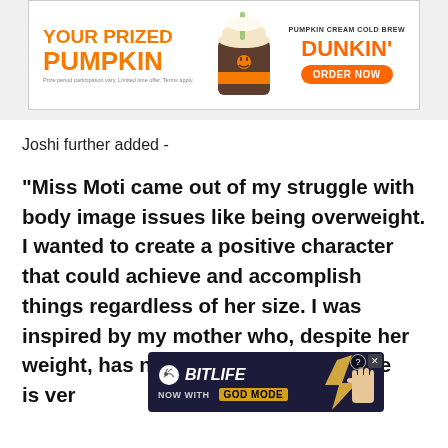[Figure (illustration): Dunkin' advertisement banner: 'YOUR PRIZED PUMPKIN' text in orange on left, pumpkin cream cold brew cup in center, 'PUMPKIN CREAM COLD BREW DUNKIN' ORDER NOW' on right with orange button]
Joshi further added -
"Miss Moti came out of my struggle with body image issues like being overweight. I wanted to create a positive character that could achieve and accomplish things regardless of her size. I was inspired by my mother who, despite her weight, has never She is ver
[Figure (illustration): BitLife advertisement banner: 'BitLife NOW WITH GOD MODE' with app logo and hand pointing gesture]